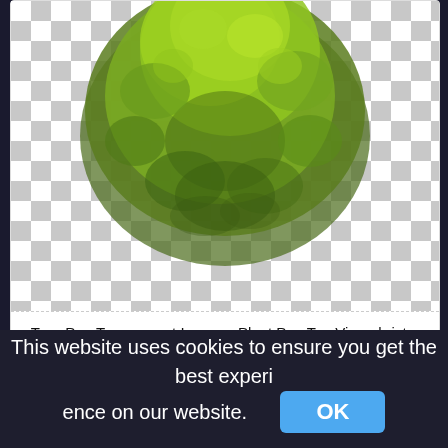[Figure (illustration): A top-view illustration of a bushy green tree (plant) rendered on a transparent checkered background. The tree has dense, layered foliage in various shades of green.]
Tree Png Transparent Images, Plant Png Top View,christmas tree vector png
571x481px
This website uses cookies to ensure you get the best experience on our website.